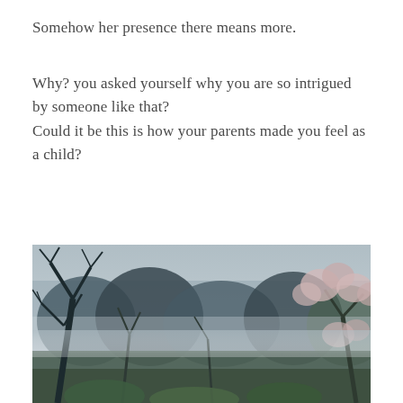Somehow her presence there means more.
Why? you asked yourself why you are so intrigued by someone like that?
Could it be this is how your parents made you feel as a child?
[Figure (photo): A misty forest scene with bare branched trees and cherry blossoms visible on the right side, muted blue-grey tones, moody atmospheric outdoor photograph]